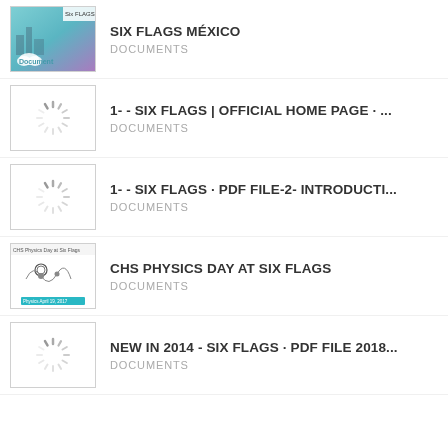SIX FLAGS MÉXICO
DOCUMENTS
1- - SIX FLAGS | OFFICIAL HOME PAGE · ...
DOCUMENTS
1- - SIX FLAGS · PDF FILE-2- INTRODUCTI...
DOCUMENTS
CHS PHYSICS DAY AT SIX FLAGS
DOCUMENTS
NEW IN 2014 - SIX FLAGS · PDF FILE 2018...
DOCUMENTS